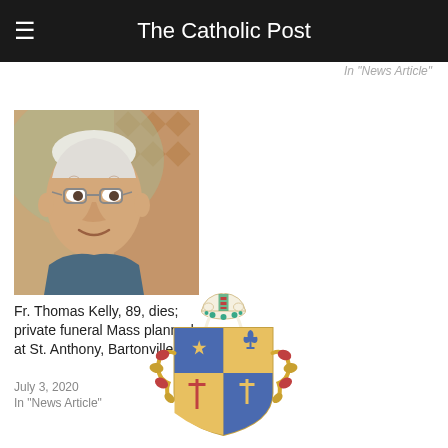The Catholic Post
In "News Article"
[Figure (photo): Portrait photo of Fr. Thomas Kelly, an elderly man with glasses]
Fr. Thomas Kelly, 89, dies; private funeral Mass planned at St. Anthony, Bartonville
July 3, 2020
In "News Article"
[Figure (logo): Catholic Diocese coat of arms / bishop's crest with mitre, shield divided into quarters with blue and gold sections featuring a star, fleur-de-lis, and other heraldic symbols]